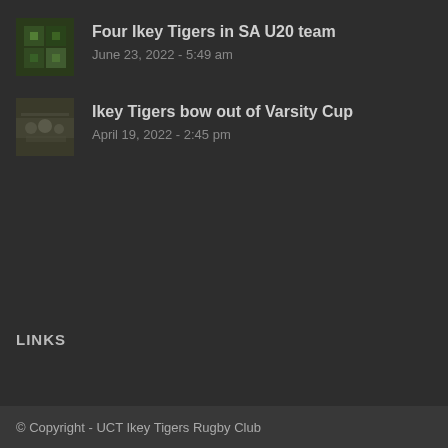Four Ikey Tigers in SA U20 team
June 23, 2022 - 5:49 am
Ikey Tigers bow out of Varsity Cup
April 19, 2022 - 2:45 pm
LINKS
© Copyright - UCT Ikey Tigers Rugby Club